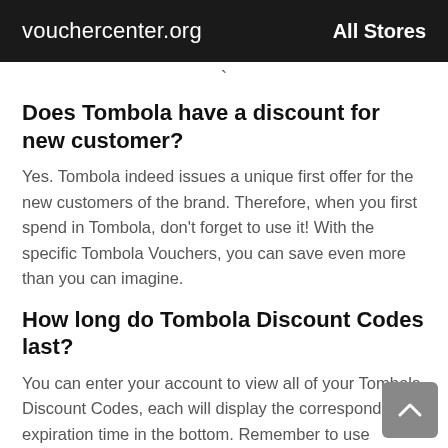vouchercenter.org   All Stores
Does Tombola have a discount for new customer?
Yes. Tombola indeed issues a unique first offer for the new customers of the brand. Therefore, when you first spend in Tombola, don't forget to use it! With the specific Tombola Vouchers, you can save even more than you can imagine.
How long do Tombola Discount Codes last?
You can enter your account to view all of your Tombola Discount Codes, each will display the corresponding expiration time in the bottom. Remember to use Tombola Voucher Codes within the validity period, and then you can get 10% off.